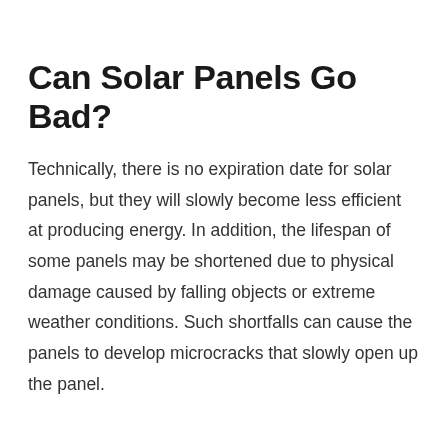Can Solar Panels Go Bad?
Technically, there is no expiration date for solar panels, but they will slowly become less efficient at producing energy. In addition, the lifespan of some panels may be shortened due to physical damage caused by falling objects or extreme weather conditions. Such shortfalls can cause the panels to develop microcracks that slowly open up the panel.